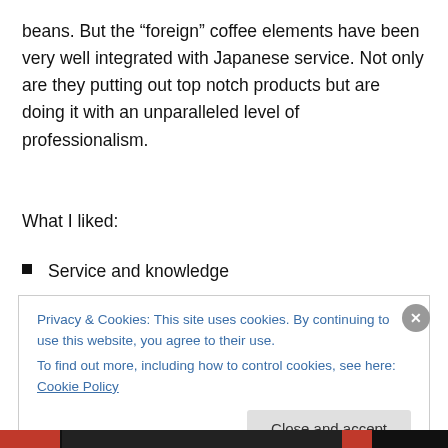beans. But the “foreign” coffee elements have been very well integrated with Japanese service. Not only are they putting out top notch products but are doing it with an unparalleled level of professionalism.
What I liked:
Service and knowledge
Location and great space
Outstanding, textbook caps
Professionalism
Privacy & Cookies: This site uses cookies. By continuing to use this website, you agree to their use.
To find out more, including how to control cookies, see here: Cookie Policy